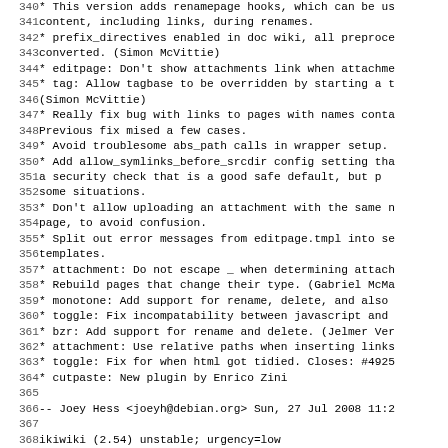| line | content |
| --- | --- |
| 340 |   * This version adds renamepage hooks, which can be us |
| 341 |     content, including links, during renames. |
| 342 |   * prefix_directives enabled in doc wiki, all preproce |
| 343 |     converted. (Simon McVittie) |
| 344 |   * editpage: Don't show attachments link when attachme |
| 345 |   * tag: Allow tagbase to be overridden by starting a t |
| 346 |     (Simon McVittie) |
| 347 |   * Really fix bug with links to pages with names conta |
| 348 |     Previous fix mised a few cases. |
| 349 |   * Avoid troublesome abs_path calls in wrapper setup. |
| 350 |   * Add allow_symlinks_before_srcdir config setting tha |
| 351 |     a security check that is a good safe default, but p |
| 352 |     some situations. |
| 353 |   * Don't allow uploading an attachment with the same n |
| 354 |     page, to avoid confusion. |
| 355 |   * Split out error messages from editpage.tmpl into se |
| 356 |     templates. |
| 357 |   * attachment: Do not escape _ when determining attach |
| 358 |   * Rebuild pages that change their type. (Gabriel McMa |
| 359 |   * monotone: Add support for rename, delete, and also |
| 360 |   * toggle: Fix incompatability between javascript and |
| 361 |   * bzr: Add support for rename and delete. (Jelmer Ver |
| 362 |   * attachment: Use relative paths when inserting links |
| 363 |   * toggle: Fix for when html got tidied. Closes: #4925 |
| 364 |   * cutpaste: New plugin by Enrico Zini |
| 365 |  |
| 366 |  -- Joey Hess <joeyh@debian.org>  Sun, 27 Jul 2008 11:2 |
| 367 |  |
| 368 | ikiwiki (2.54) unstable; urgency=low |
| 369 |  |
| 370 |   [ Joey Hess ] |
| 371 |   * Make it possible to load setup files w/o running th |